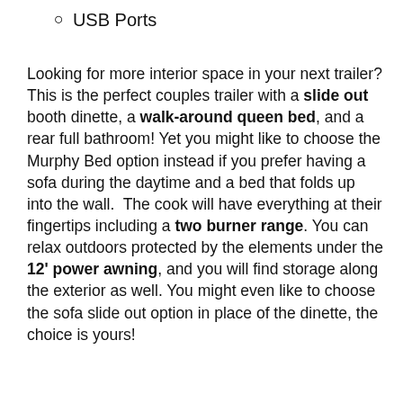USB Ports
Looking for more interior space in your next trailer? This is the perfect couples trailer with a slide out booth dinette, a walk-around queen bed, and a rear full bathroom! Yet you might like to choose the Murphy Bed option instead if you prefer having a sofa during the daytime and a bed that folds up into the wall.  The cook will have everything at their fingertips including a two burner range. You can relax outdoors protected by the elements under the 12' power awning, and you will find storage along the exterior as well. You might even like to choose the sofa slide out option in place of the dinette, the choice is yours!